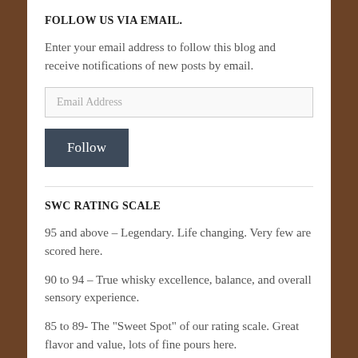FOLLOW US VIA EMAIL.
Enter your email address to follow this blog and receive notifications of new posts by email.
Email Address
Follow
SWC RATING SCALE
95 and above – Legendary. Life changing. Very few are scored here.
90 to 94 – True whisky excellence, balance, and overall sensory experience.
85 to 89- The "Sweet Spot" of our rating scale. Great flavor and value, lots of fine pours here.
80 to 84 – There are fairly good whiskies here, but